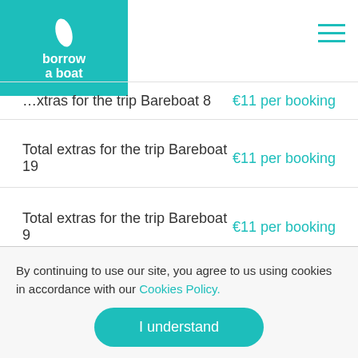borrow a boat
Total extras for the trip Bareboat 8 | €11 per booking
Total extras for the trip Bareboat 19 | €11 per booking
Total extras for the trip Bareboat 9 | €11 per booking
Total extras for the trip Bareboat 9 | €11 per booking
Total extras for the trip Bareboat 17 | €11 per booking
By continuing to use our site, you agree to us using cookies in accordance with our Cookies Policy.